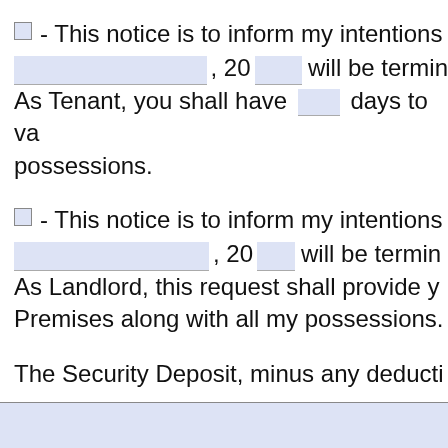☐ - This notice is to inform my intentions, [fill], 20[fill] will be terminated. As Tenant, you shall have [fill] days to vacate and remove all possessions.
☐ - This notice is to inform my intentions, [fill], 20[fill] will be terminated. As Landlord, this request shall provide you notice to vacate the Premises along with all my possessions.
The Security Deposit, minus any deductions,
[fill field]